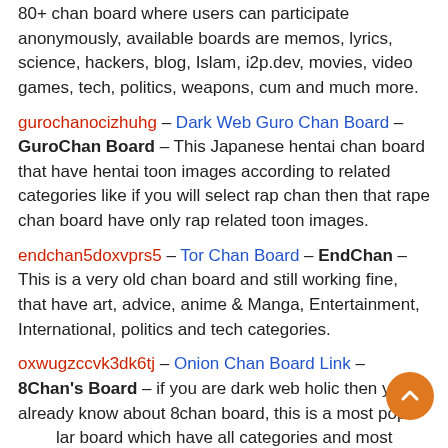80+ chan board where users can participate anonymously, available boards are memos, lyrics, science, hackers, blog, Islam, i2p.dev, movies, video games, tech, politics, weapons, cum and much more.
gurochanocizhuhg – Dark Web Guro Chan Board – GuroChan Board – This Japanese hentai chan board that have hentai toon images according to related categories like if you will select rap chan then that rape chan board have only rap related toon images.
endchan5doxvprs5 – Tor Chan Board – EndChan – This is a very old chan board and still working fine, that have art, advice, anime & Manga, Entertainment, International, politics and tech categories.
oxwugzccvk3dk6tj – Onion Chan Board Link – 8Chan's Board – if you are dark web holic then you already know about 8chan board, this is a most popular board which have all categories and most engaging